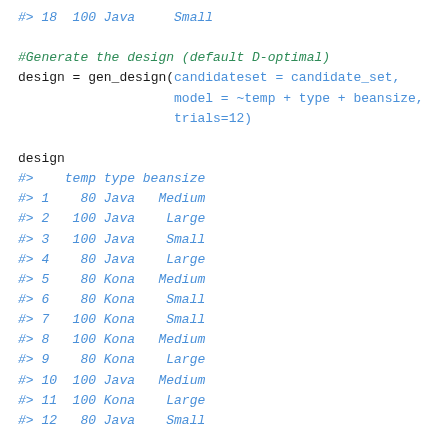#> 18  100 Java     Small
#Generate the design (default D-optimal)
design = gen_design(candidateset = candidate_set,
                    model = ~temp + type + beansize,
                    trials=12)
design
#>    temp type beansize
#> 1    80 Java   Medium
#> 2   100 Java    Large
#> 3   100 Java    Small
#> 4    80 Java    Large
#> 5    80 Kona   Medium
#> 6    80 Kona    Small
#> 7   100 Kona    Small
#> 8   100 Kona   Medium
#> 9    80 Kona    Large
#> 10  100 Java   Medium
#> 11  100 Kona    Large
#> 12   80 Java    Small
#Evaluate power for the design with an allowable type-I
eval_design(design)
#>    parameter          type      power
#> 1 (Intercept)  effect.power 0.8424665
#> 2        temp  effect.power 0.8424665
#> 3        type  effect.power 0.8424665
#> 4    beansize  effect.power 0.5165386